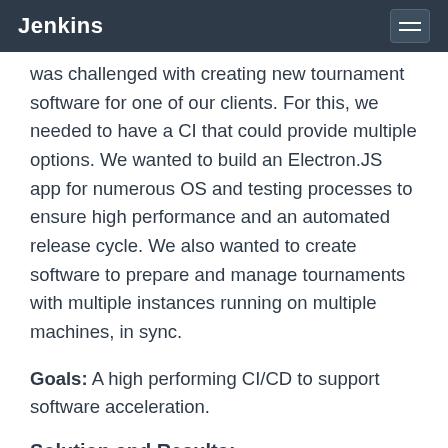Jenkins
was challenged with creating new tournament software for one of our clients. For this, we needed to have a CI that could provide multiple options. We wanted to build an Electron.JS app for numerous OS and testing processes to ensure high performance and an automated release cycle. We also wanted to create software to prepare and manage tournaments with multiple instances running on multiple machines, in sync.
Goals: A high performing CI/CD to support software acceleration.
Solution and Results:
We had multiple goals for this project in which we relied on Jenkins.